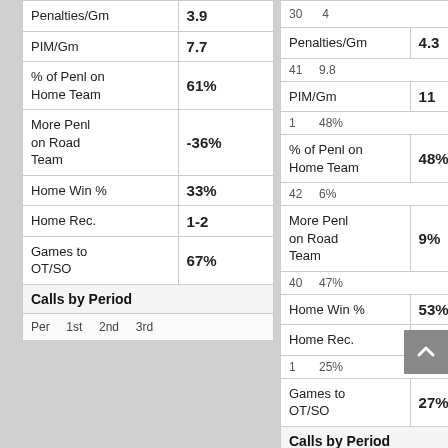| Stat | Value |
| --- | --- |
| Penalties/Gm | 3.9 |
| PIM/Gm | 7.7 |
| % of Penl on Home Team | 61% |
| More Penl on Road Team | -36% |
| Home Win % | 33% |
| Home Rec. | 1-2 |
| Games to OT/SO | 67% |
| Calls by Period |  |
| Per  1st  2nd  3rd |  |
| Stat | Value |
| --- | --- |
| 30  4 |  |
| Penalties/Gm | 4.3 |
| 41  9.8 |  |
| PIM/Gm | 11 |
| 1  48% |  |
| % of Penl on Home Team | 48% |
| 42  6% |  |
| More Penl on Road Team | 9% |
| 40  47% |  |
| Home Win % | 53% |
| Home Rec. | 35-31 |
| 1  25% |  |
| Games to OT/SO | 27% |
| Calls by Period |  |
| Per  1st  2nd  3rd |  |